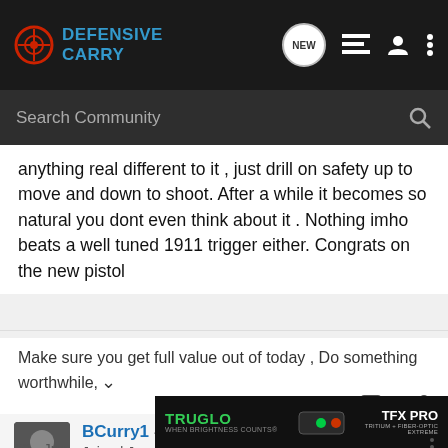Defensive Carry - navigation bar with search
anything real different to it , just drill on safety up to move and down to shoot. After a while it becomes so natural you dont even think about it . Nothing imho beats a well tuned 1911 trigger either. Congrats on the new pistol
Make sure you get full value out of today , Do something worthwhile, because what you do today will cost you one day off the rest of your
BCurry1 · Registered
Joined Jan 15, 2006 · 1,314 Posts
[Figure (screenshot): TruGlo TFX Pro advertisement banner showing gun sights on dark background]
#3 · Jun